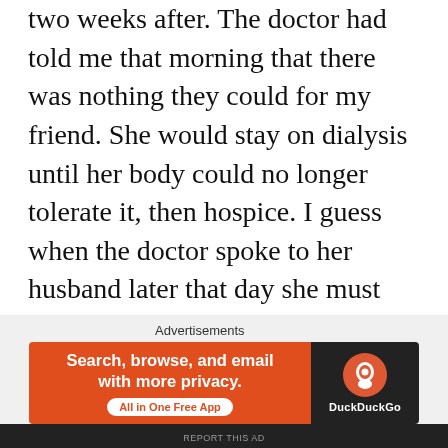two weeks after. The doctor had told me that morning that there was nothing they could for my friend. She would stay on dialysis until her body could no longer tolerate it, then hospice. I guess when the doctor spoke to her husband later that day she must have mentioned something about that possibility, because that evening in talking with him, my friend's husband had adamantly said he would never take her off the dialysis machine.
[Figure (screenshot): DuckDuckGo advertisement banner with orange left panel reading 'Search, browse, and email with more privacy. All in One Free App' and dark right panel with DuckDuckGo logo and brand name.]